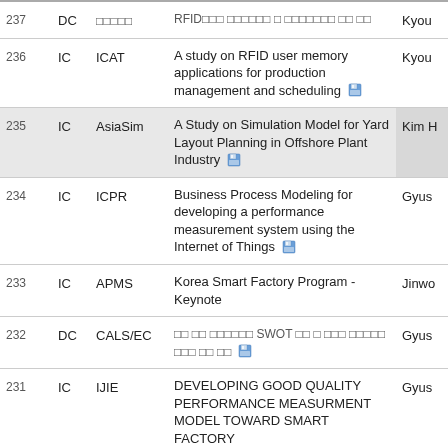| No. | Type | Venue | Title | Author |
| --- | --- | --- | --- | --- |
| 237 | DC | □□□□□ | RFID□□□ □□□□□□ □ □□□□□□□ □□ □□ | Kyou… |
| 236 | IC | ICAT | A study on RFID user memory applications for production management and scheduling 🖫 | Kyou… |
| 235 | IC | AsiaSim | A Study on Simulation Model for Yard Layout Planning in Offshore Plant Industry 🖫 | Kim H… |
| 234 | IC | ICPR | Business Process Modeling for developing a performance measurement system using the Internet of Things 🖫 | Gyus… |
| 233 | IC | APMS | Korea Smart Factory Program - Keynote | Jinwo… |
| 232 | DC | CALS/EC | □□ □□ □□□□□□ SWOT □□ □ □□□ □□□□□ □□□ □□ □□ 🖫 | Gyus… |
| 231 | IC | IJIE | DEVELOPING GOOD QUALITY PERFORMANCE MEASURMENT MODEL TOWARD SMART FACTORY | Gyus… |